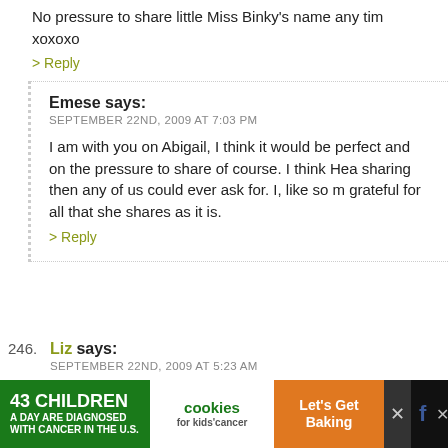No pressure to share little Miss Binky's name any tim
xoxoxo
> Reply
Emese says:
SEPTEMBER 22ND, 2009 AT 7:03 PM
I am with you on Abigail, I think it would be perfect and on the pressure to share of course. I think Hea sharing then any of us could ever ask for. I, like so m grateful for all that she shares as it is.
> Reply
246. Liz says:
SEPTEMBER 22ND, 2009 AT 5:23 AM
Well congratulations, Heather and Mike! So glad to hea blessed already to have the two of you as parents and M angel. Congrats again!
[Figure (infographic): Advertisement banner: '43 Children A Day Are Diagnosed With Cancer in the U.S.' with cookies for kids' cancer logo and 'Let's Get Baking' call to action]